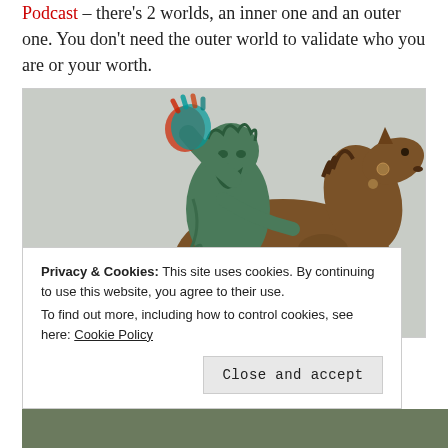Podcast – there's 2 worlds, an inner one and an outer one. You don't need the outer world to validate who you are or your worth.
[Figure (photo): Bronze equestrian statue of Marcus Aurelius on horseback, with an anaglyphic 3D effect (red-cyan), figure raising right hand, set against a light gray background.]
Privacy & Cookies: This site uses cookies. By continuing to use this website, you agree to their use.
To find out more, including how to control cookies, see here: Cookie Policy